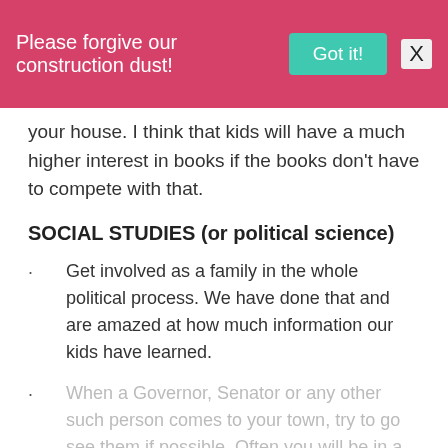Please forgive our construction dust!  Got it!  X
your house. I think that kids will have a much higher interest in books if the books don't have to compete with that.
SOCIAL STUDIES (or political science)
Get involved as a family in the whole political process. We have done that and are amazed at how much information our kids have learned.
When a Governor, Senator or any other such person comes to your town, try to go see them if possible. Often you will be in a group with few